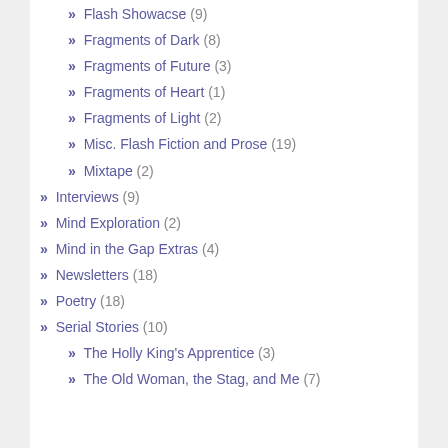» Flash Showacse (9)
» Fragments of Dark (8)
» Fragments of Future (3)
» Fragments of Heart (1)
» Fragments of Light (2)
» Misc. Flash Fiction and Prose (19)
» Mixtape (2)
» Interviews (9)
» Mind Exploration (2)
» Mind in the Gap Extras (4)
» Newsletters (18)
» Poetry (18)
» Serial Stories (10)
» The Holly King's Apprentice (3)
» The Old Woman, the Stag, and Me (7)